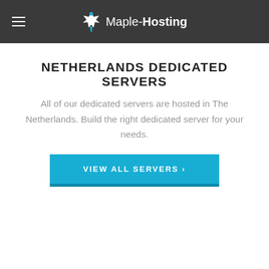Maple-Hosting
NETHERLANDS DEDICATED SERVERS
All of our dedicated servers are hosted in The Netherlands. Build the right dedicated server for your needs.
VIEW ALL SERVERS ›
UNMETERED DEDICATED SERVERS
Designed for high-bandwidth use cases